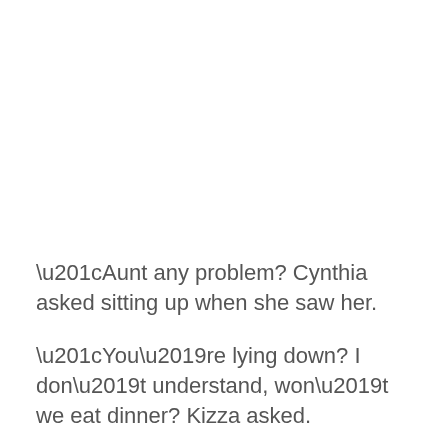“Aunt any problem? Cynthia asked sitting up when she saw her.
“You’re lying down? I don’t understand, won’t we eat dinner? Kizza asked.
“Dinner? How I’m I suppose to know I’ll be